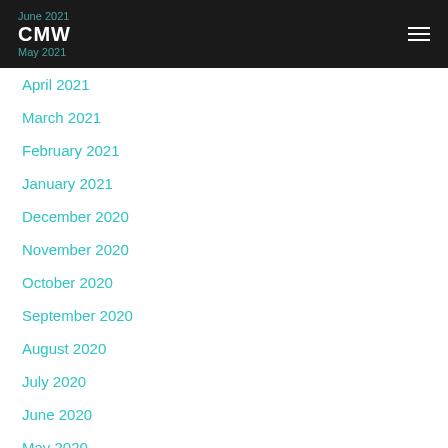June 2021 CMW May 2021
April 2021
March 2021
February 2021
January 2021
December 2020
November 2020
October 2020
September 2020
August 2020
July 2020
June 2020
May 2020
April 2020